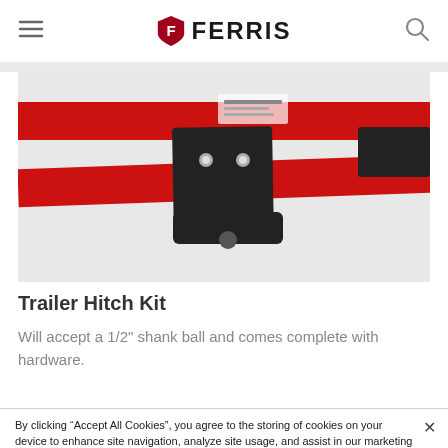FERRIS
[Figure (photo): Close-up photo of a black metal trailer hitch bracket mounted on a red steel frame/bar, with bolts visible]
Trailer Hitch Kit
Will accept a 1/2" shank ball and comes complete with hardware.
By clicking “Accept All Cookies”, you agree to the storing of cookies on your device to enhance site navigation, analyze site usage, and assist in our marketing efforts.